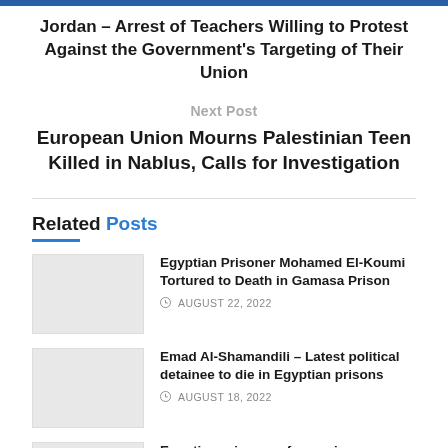Jordan – Arrest of Teachers Willing to Protest Against the Government's Targeting of Their Union
Next Post
European Union Mourns Palestinian Teen Killed in Nablus, Calls for Investigation
Related Posts
Egyptian Prisoner Mohamed El-Koumi Tortured to Death in Gamasa Prison
AUGUST 22, 2022
Emad Al-Shamandili – Latest political detainee to die in Egyptian prisons
AUGUST 18, 2022
Egyptian prisoner of conscience Shahat Abdel